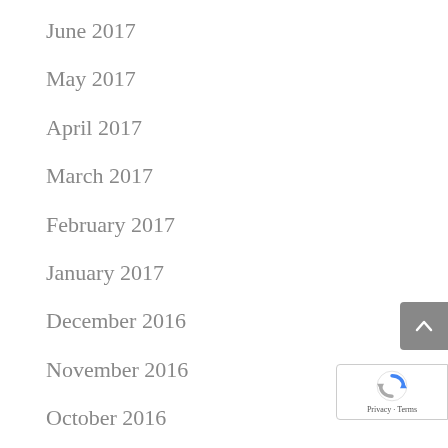June 2017
May 2017
April 2017
March 2017
February 2017
January 2017
December 2016
November 2016
October 2016
September 2016
August 2016
[Figure (screenshot): Scroll-to-top button (gray rounded rectangle with upward chevron arrow)]
[Figure (screenshot): Google reCAPTCHA badge with logo and Privacy/Terms links]